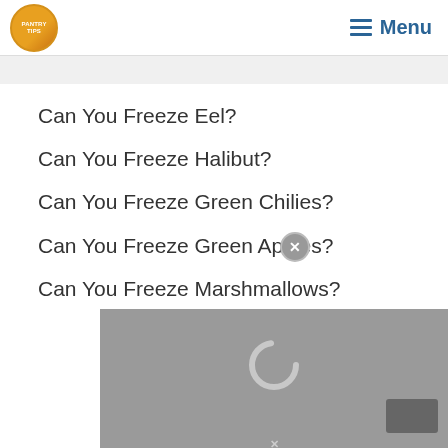PANTRY TIPS — Menu
Can You Freeze Eel?
Can You Freeze Halibut?
Can You Freeze Green Chilies?
Can You Freeze Green Apples?
Can You Freeze Marshmallows?
[Figure (other): Gray loading overlay with spinner ring, close button (X circle), and thumbnail rectangle]